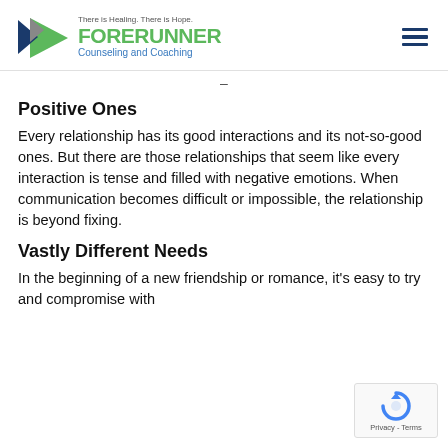There is Healing. There is Hope. FORERUNNER Counseling and Coaching
–
Positive Ones
Every relationship has its good interactions and its not-so-good ones. But there are those relationships that seem like every interaction is tense and filled with negative emotions. When communication becomes difficult or impossible, the relationship is beyond fixing.
Vastly Different Needs
In the beginning of a new friendship or romance, it's easy to try and compromise with